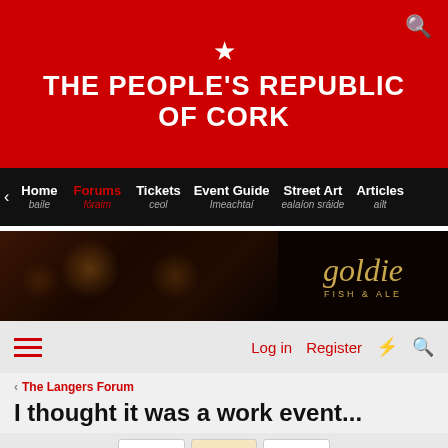THE PEOPLE'S REPUBLIC OF CORK
Home baile | Forums fóraim | Tickets ceol | Event Guide Imeachtaí | Street Art ealaíon sráide | Articles ailt
[Figure (screenshot): Goldie Fish & Ale restaurant advertisement banner with candlelit dining scene]
Log in | Register
The Langers Forum
I thought it was a work event...
4 of 5
jimmym